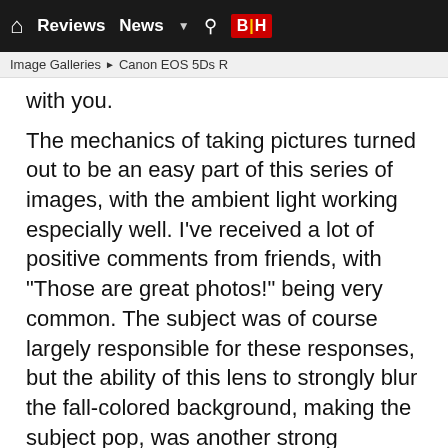Reviews  News  B|H
Image Galleries ▶ Canon EOS 5Ds R
with you.
The mechanics of taking pictures turned out to be an easy part of this series of images, with the ambient light working especially well. I've received a lot of positive comments from friends, with "Those are great photos!" being very common. The subject was of course largely responsible for these responses, but the ability of this lens to strongly blur the fall-colored background, making the subject pop, was another strong contributor to them. This lens, though not inexpensive, can do the same for photos of your own family, or for those for your clients.